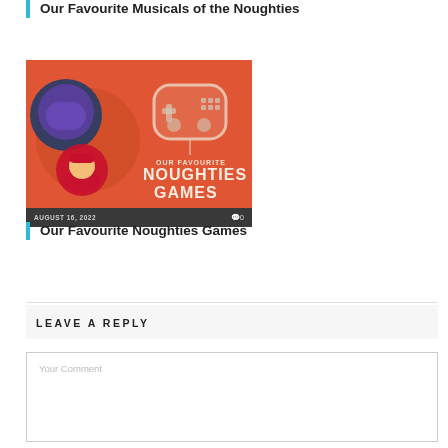Our Favourite Musicals of the Noughties
[Figure (illustration): Card image with orange/red background showing game controller icon and circular character illustrations, with 'OUR FAVOURITE NOUGHTIES GAMES' text. Footer shows date AUGUST 16, 2022 and comment count 0.]
Our Favourite Noughties Games
LEAVE A REPLY
Your Comment